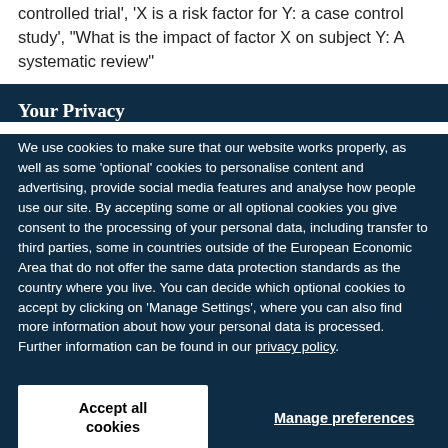controlled trial', 'X is a risk factor for Y: a case control study', 'What is the impact of factor X on subject Y: A systematic review'
Your Privacy
We use cookies to make sure that our website works properly, as well as some 'optional' cookies to personalise content and advertising, provide social media features and analyse how people use our site. By accepting some or all optional cookies you give consent to the processing of your personal data, including transfer to third parties, some in countries outside of the European Economic Area that do not offer the same data protection standards as the country where you live. You can decide which optional cookies to accept by clicking on 'Manage Settings', where you can also find more information about how your personal data is processed. Further information can be found in our privacy policy.
Accept all cookies
Manage preferences